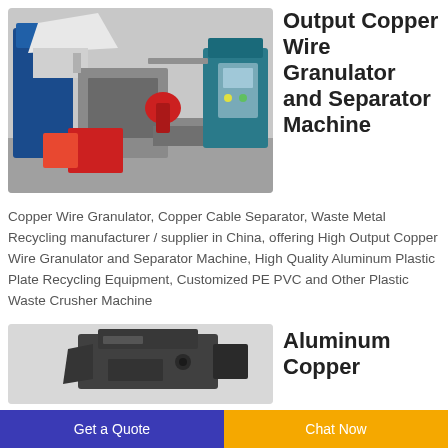[Figure (photo): Industrial copper wire granulator machine in a factory setting, showing blue and red equipment components]
Output Copper Wire Granulator and Separator Machine
Copper Wire Granulator, Copper Cable Separator, Waste Metal Recycling manufacturer / supplier in China, offering High Output Copper Wire Granulator and Separator Machine, High Quality Aluminum Plastic Plate Recycling Equipment, Customized PE PVC and Other Plastic Waste Crusher Machine
[Figure (photo): Aluminum copper recycling machine, dark gray colored equipment on light background]
Aluminum Copper
Get a Quote | Chat Now